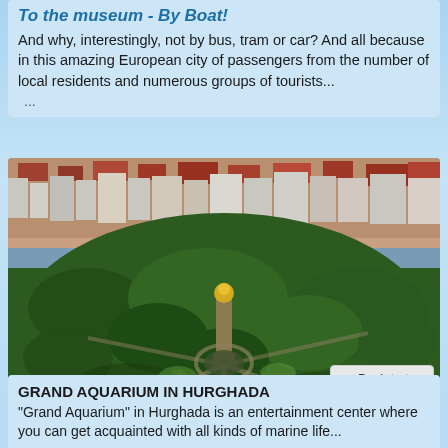To the museum - By Boat!
And why, interestingly, not by bus, tram or car? And all because in this amazing European city of passengers from the number of local residents and numerous groups of tourists...
...
[Figure (photo): Aerial view of a large European city showing a dense urban landscape with a prominent park featuring a tall victory column monument in the center, surrounded by tree-covered parkland. City buildings and streets visible in all directions.]
▲ Back to top
GRAND AQUARIUM IN HURGHADA
"Grand Aquarium" in Hurghada is an entertainment center where you can get acquainted with all kinds of marine life...